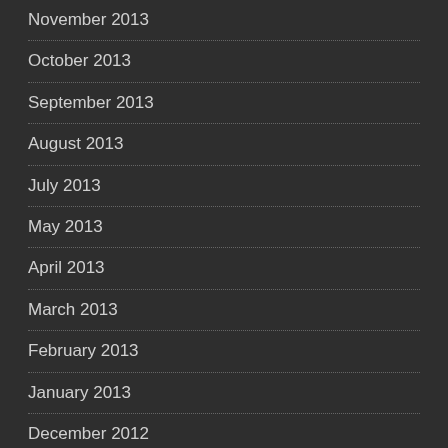November 2013
October 2013
September 2013
August 2013
July 2013
May 2013
April 2013
March 2013
February 2013
January 2013
December 2012
November 2012
October 2012